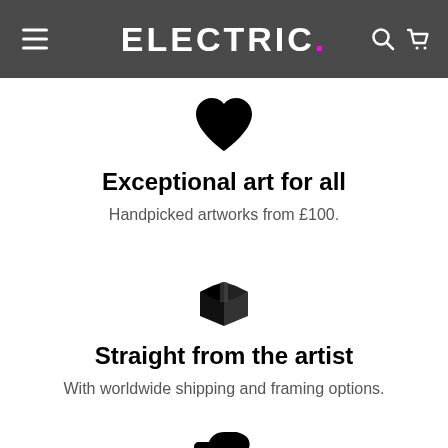ELECTRIC.
[Figure (illustration): Black heart icon]
Exceptional art for all
Handpicked artworks from £100.
[Figure (illustration): Black shipping box icon]
Straight from the artist
With worldwide shipping and framing options.
[Figure (illustration): Partial black thumbs up / hand icon visible at bottom]